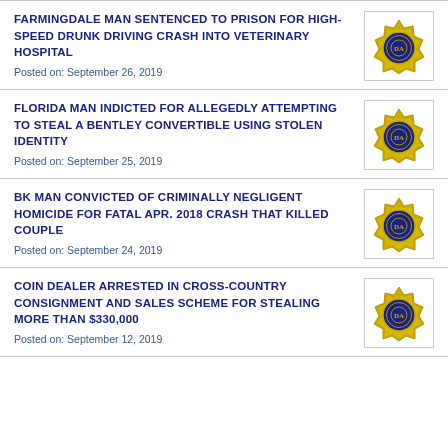FARMINGDALE MAN SENTENCED TO PRISON FOR HIGH-SPEED DRUNK DRIVING CRASH INTO VETERINARY HOSPITAL
Posted on: September 26, 2019
FLORIDA MAN INDICTED FOR ALLEGEDLY ATTEMPTING TO STEAL A BENTLEY CONVERTIBLE USING STOLEN IDENTITY
Posted on: September 25, 2019
BK MAN CONVICTED OF CRIMINALLY NEGLIGENT HOMICIDE FOR FATAL APR. 2018 CRASH THAT KILLED COUPLE
Posted on: September 24, 2019
COIN DEALER ARRESTED IN CROSS-COUNTRY CONSIGNMENT AND SALES SCHEME FOR STEALING MORE THAN $330,000
Posted on: September 12, 2019